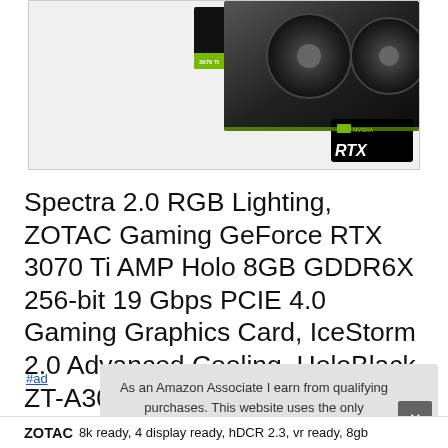[Figure (photo): Product image of ZOTAC Gaming GeForce RTX 3070 Ti AMP Holo graphics card showing the GPU box art and card, with NVIDIA GeForce RTX badge in the lower right corner]
Spectra 2.0 RGB Lighting, ZOTAC Gaming GeForce RTX 3070 Ti AMP Holo 8GB GDDR6X 256-bit 19 Gbps PCIE 4.0 Gaming Graphics Card, IceStorm 2.0 Advanced Cooling, HoloBlack, ZT-A30710F-10P
As an Amazon Associate I earn from qualifying purchases. This website uses the only necessary cookies to ensure you get the best experience on our website. More information
#ad
ZOTAC   8k ready, 4 display ready, hDCR 2.3, vr ready, 8gb